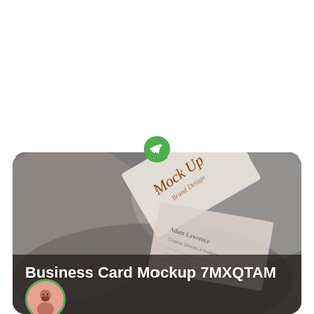[Figure (illustration): Telegram send icon — green circle with white paper plane arrow pointing upper-right]
[Figure (photo): Business card mockup photo showing two overlapping business cards on a gray textured surface. One card shows 'Mock Up' in gold serif italic script. The second card shows 'Adam Lawrence' text. Dark overlay at bottom with white bold text 'Business Card Mockup 7MXQTAM'. A circular avatar with a bearded man icon is partially visible at bottom-left, surrounded by a green ring.]